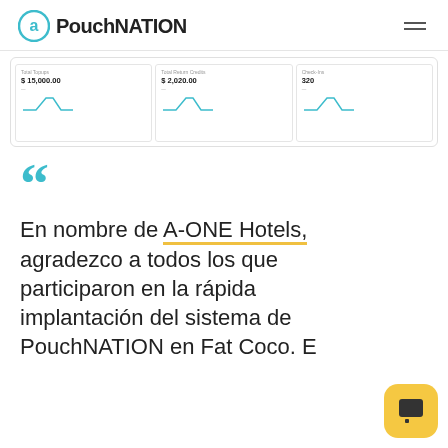PouchNATION
[Figure (screenshot): Dashboard screenshot showing three metric cards: Total Topups $15,000.00, Total Return Credits $2,020.00, Check-ins 320, each with a small line chart below]
En nombre de A-ONE Hotels, agradezco a todos los que participaron en la rápida implantación del sistema de PouchNATION en Fat Coco. E